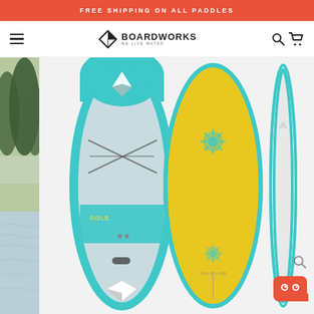FREE SHIPPING ON ALL PADDLES
[Figure (logo): Boardworks SUP brand logo with arrow-shaped diamond icon and tagline WE LIVE WATER]
[Figure (photo): Outdoor water scene with trees and water, partial left-side background photo]
[Figure (photo): Three views of a Boardworks SUP stand-up paddleboard: top view showing teal/grey/white deck with bungee cord storage and Boardworks logo, bottom view showing yellow hull with teal rails and sun graphic, and side profile view showing teal rails]